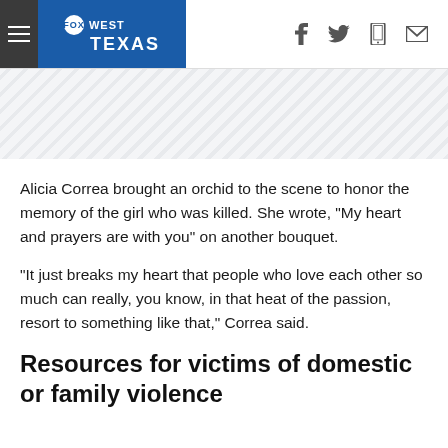FOX WEST TEXAS
[Figure (other): Diagonal hatched banner/advertisement placeholder strip]
Alicia Correa brought an orchid to the scene to honor the memory of the girl who was killed. She wrote, "My heart and prayers are with you" on another bouquet.
“It just breaks my heart that people who love each other so much can really, you know, in that heat of the passion, resort to something like that,” Correa said.
Resources for victims of domestic or family violence